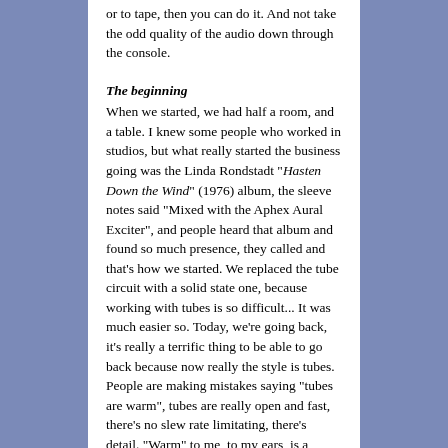or to tape, then you can do it. And not take the odd quality of the audio down through the console.
The beginning
When we started, we had half a room, and a table. I knew some people who worked in studios, but what really started the business going was the Linda Rondstadt "Hasten Down the Wind" (1976) album, the sleeve notes said "Mixed with the Aphex Aural Exciter", and people heard that album and found so much presence, they called and that's how we started. We replaced the tube circuit with a solid state one, because working with tubes is so difficult... It was much easier so. Today, we're going back, it's really a terrific thing to be able to go back because now really the style is tubes. People are making mistakes saying "tubes are warm", tubes are really open and fast, there's no slew rate limitating, there's detail. "Warm" to me, to my ears, is a round sound. A transistor or a solid-state circuit takes a square wave and makes a triangle